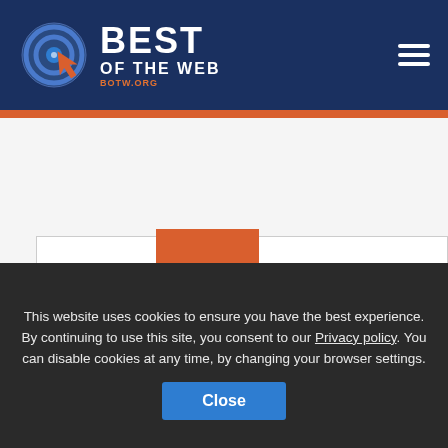BEST OF THE WEB — BOTW.ORG
[Figure (logo): Best of the Web logo with circular target icon and arrow, text BEST OF THE WEB, BOTW.ORG]
View Listing
Lakeshore Eye Care
This website uses cookies to ensure you have the best experience. By continuing to use this site, you consent to our Privacy policy. You can disable cookies at any time, by changing your browser settings.
Close